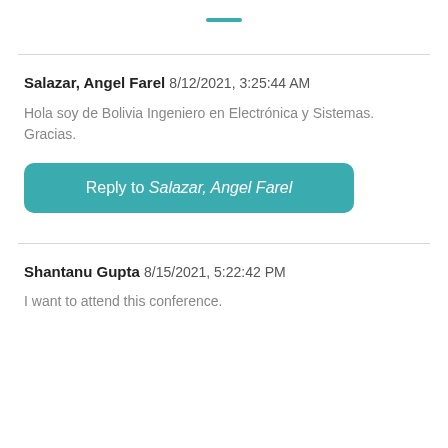— (decorative top bar)
Salazar, Angel Farel 8/12/2021, 3:25:44 AM
Hola soy de Bolivia Ingeniero en Electrónica y Sistemas. Gracias.
Reply to Salazar, Angel Farel
Shantanu Gupta 8/15/2021, 5:22:42 PM
I want to attend this conference.